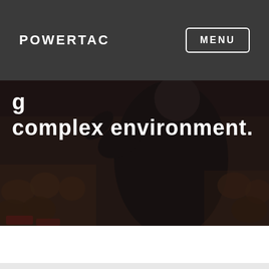POWERTAC
[Figure (screenshot): Navigation bar with POWERTAC logo on the left and MENU button with border on the right, on a dark gray background]
[Figure (photo): A person in a dark suit speaking or presenting to an audience, viewed from behind, with blurred audience members visible in the background. Dark overlay applied. Partial white text visible: 'complex environment.']
complex environment.